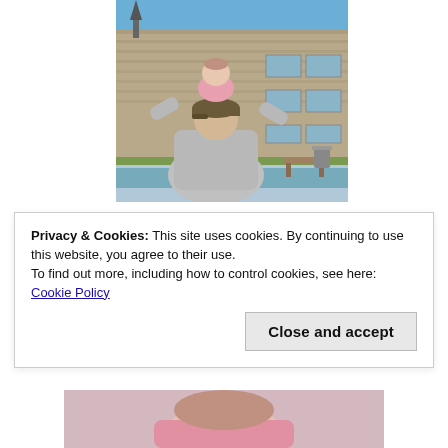[Figure (photo): A man carrying a baby/toddler on his shoulders outdoors in front of a stone building on a sunny day. The man wears a gray sweatshirt and a baseball cap. The toddler wears a pink outfit. There is a bench and a trash can visible in the background.]
Privacy & Cookies: This site uses cookies. By continuing to use this website, you agree to their use.
To find out more, including how to control cookies, see here: Cookie Policy
[Figure (photo): Partial bottom photo showing a person (likely a child) with pink clothing, cropped at the bottom of the page.]